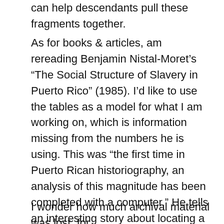can help descendants pull these fragments together.
As for books & articles, am rereading Benjamin Nistal-Moret's “The Social Structure of Slavery in Puerto Rico” (1985). I’d like to use the tables as a model for what I am working on, which is information missing from the numbers he is using. This was “the first time in Puerto Rican historiography, an analysis of this magnitude has been completed with a computer.” He tells an interesting story about locating a missing 1872 Registro Central de Esclavos volume at the Library of Congress, microfilming it and returning it during the summer of 1975. As he did his work in the 1980s, his statistical work was entered onto punch cards of a computer program used in sociology. Which volume it was, Nistal-Moret doesn’t say.
I wonder how much archival material was lost, for